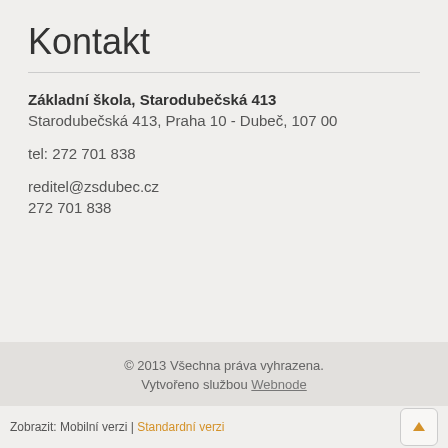Kontakt
Základní škola, Starodubečská 413
Starodubečská 413, Praha 10 - Dubeč, 107 00
tel: 272 701 838
reditel@zsdubec.cz
272 701 838
© 2013 Všechna práva vyhrazena. Vytvořeno službou Webnode
Zobrazit: Mobilní verzi | Standardní verzi